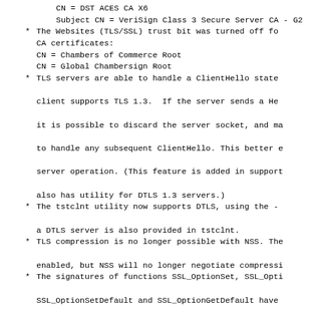CN = DST ACES CA X6
Subject CN = VeriSign Class 3 Secure Server CA - G2
* The Websites (TLS/SSL) trust bit was turned off for CA certificates:
    CN = Chambers of Commerce Root
    CN = Global Chambersign Root
* TLS servers are able to handle a ClientHello statement client supports TLS 1.3.  If the server sends a HelloRetryRequest, it is possible to discard the server socket, and make a new one to handle any subsequent ClientHello. This better enables server operation. (This feature is added in support of, and also has utility for DTLS 1.3 servers.)
* The tstclnt utility now supports DTLS, using the -R option. a DTLS server is also provided in tstclnt.
* TLS compression is no longer possible with NSS. The option is still enabled, but NSS will no longer negotiate compression.
* The signatures of functions SSL_OptionSet, SSL_OptionGet, SSL_OptionSetDefault and SSL_OptionGetDefault have been changed to take a PRIntn argument rather than PRBool. This allows that options can have values other than 0 or 1.  Note: This does not affect ABI compatibility, because PRBool is a typedef for PRIntn.
* Tue Jan 09 2018 wr@rosenauer.org
- update to NSS 3.34.1
  Changes in 3.34:
  Notable changes
* The following CA certificates were Added:
    GDCA TrustAUTH R5 ROOT
    SSL.com Root Certification Authority RSA
    SSL.com Root Certification Authority ECC
    SSL.com EV Root Certification Authority RSA R2